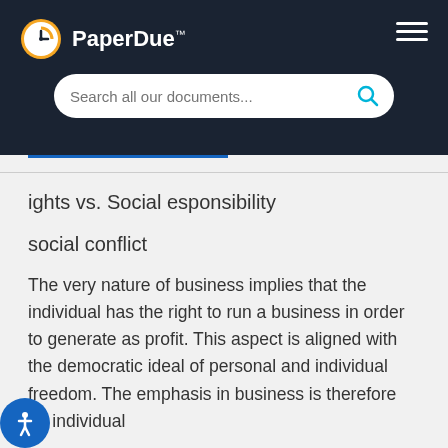PaperDue™
ights vs. Social esponsibility
social conflict
The very nature of business implies that the individual has the right to run a business in order to generate as profit. This aspect is aligned with the democratic ideal of personal and individual freedom. The emphasis in business is therefore on individual